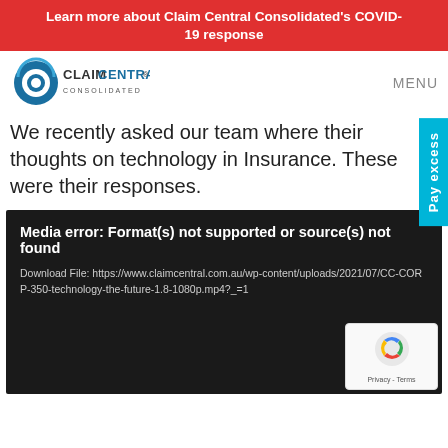Learn more about Claim Central Consolidated's COVID-19 response
[Figure (logo): Claim Central Consolidated logo with blue circular icon and text]
MENU
We recently asked our team where their thoughts on technology in Insurance. These were their responses.
[Figure (screenshot): Media error: Format(s) not supported or source(s) not found. Download File: https://www.claimcentral.com.au/wp-content/uploads/2021/07/CC-CORP-350-technology-the-future-1.8-1080p.mp4?_=1]